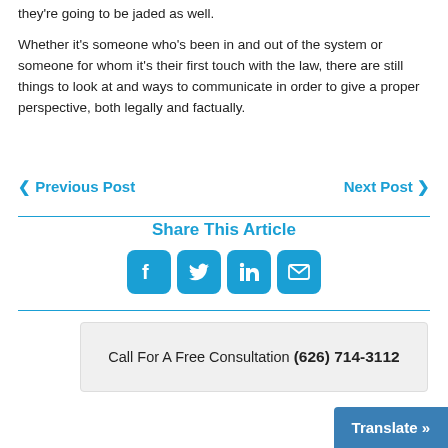they're going to be jaded as well.
Whether it's someone who's been in and out of the system or someone for whom it's their first touch with the law, there are still things to look at and ways to communicate in order to give a proper perspective, both legally and factually.
❮ Previous Post    Next Post ❯
Share This Article
[Figure (infographic): Four social media share icons: Facebook, Twitter, LinkedIn, Email — blue rounded square buttons]
Call For A Free Consultation (626) 714-3112
Translate »